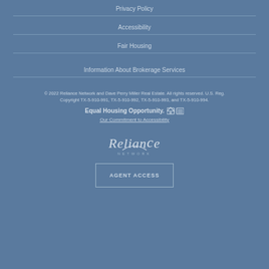Privacy Policy
Accessibility
Fair Housing
Information About Brokerage Services
© 2022 Reliance Network and Dave Perry Miller Real Estate. All rights reserved. U.S. Reg. Copyright TX-5-910-991, TX-5-910-992, TX-5-910-993, and TX-5-910-994.
Equal Housing Opportunity.
Our Commitment to Accessibility
[Figure (logo): Reliance Network logo in light color on blue background]
AGENT ACCESS